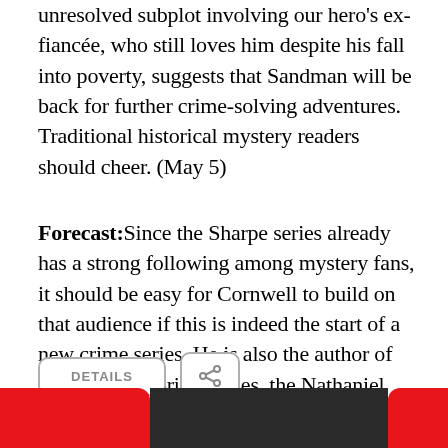unresolved subplot involving our hero's ex-fiancée, who still loves him despite his fall into poverty, suggests that Sandman will be back for further crime-solving adventures. Traditional historical mystery readers should cheer. (May 5)
Forecast:Since the Sharpe series already has a strong following among mystery fans, it should be easy for Cornwell to build on that audience if this is indeed the start of a new crime series. He is also the author of two other historical series, the Nathaniel Starbuck Chronicles and the Warlord Chronicles.
[Figure (other): Two UI buttons: a DETAILS button and a share icon button, both with rounded rectangle borders in light gray]
[Figure (other): Bottom navigation bar with red sections on left and right and a dark/black center panel]